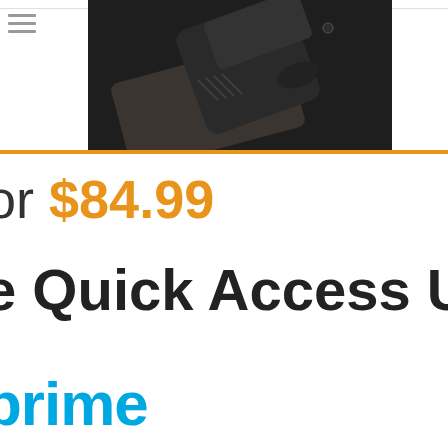[Figure (photo): Product photo of a gun/pistol in a holster against a dark background, shown from above at an angle on an Amazon product listing page.]
or $84.99
e Quick Access U
prime